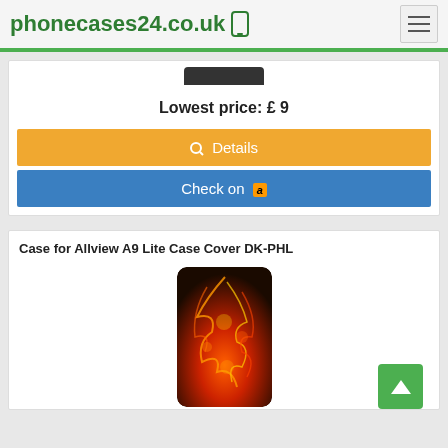phonecases24.co.uk
Lowest price: £ 9
Details
Check on amazon
Case for Allview A9 Lite Case Cover DK-PHL
[Figure (photo): Phone case with fire/lava dragon design for Allview A9 Lite]